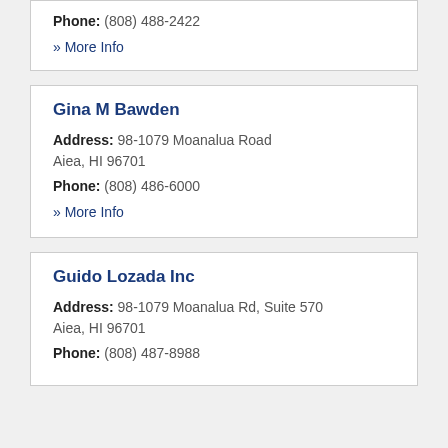Phone: (808) 488-2422
» More Info
Gina M Bawden
Address: 98-1079 Moanalua Road
Aiea, HI 96701
Phone: (808) 486-6000
» More Info
Guido Lozada Inc
Address: 98-1079 Moanalua Rd, Suite 570
Aiea, HI 96701
Phone: (808) 487-8988